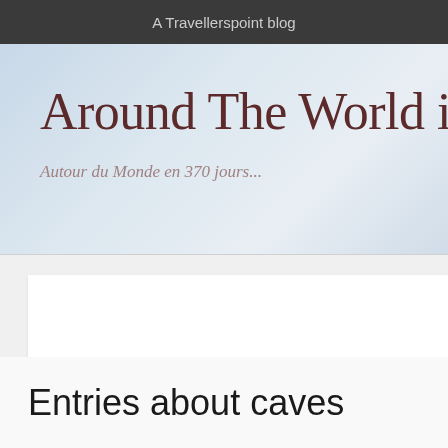A Travellerspoint blog
Around The World in 37
Autour du Monde en 370 jours...
Entries about caves